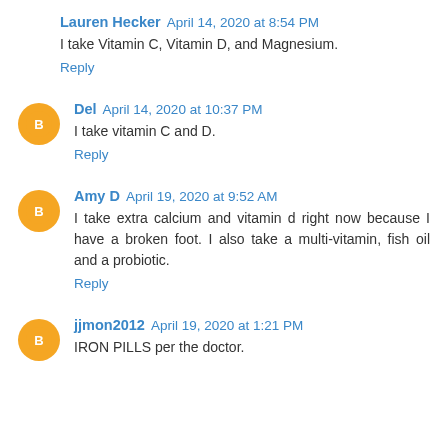Lauren Hecker April 14, 2020 at 8:54 PM
I take Vitamin C, Vitamin D, and Magnesium.
Reply
Del April 14, 2020 at 10:37 PM
I take vitamin C and D.
Reply
Amy D April 19, 2020 at 9:52 AM
I take extra calcium and vitamin d right now because I have a broken foot. I also take a multi-vitamin, fish oil and a probiotic.
Reply
jjmon2012 April 19, 2020 at 1:21 PM
IRON PILLS per the doctor.